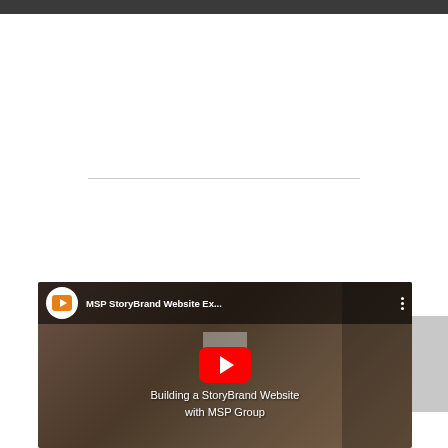[Figure (screenshot): YouTube video embed showing 'MSP StoryBrand Website Ex...' with title 'Building a StoryBrand Website with [MSP] Group' and a red YouTube play button in the center.]